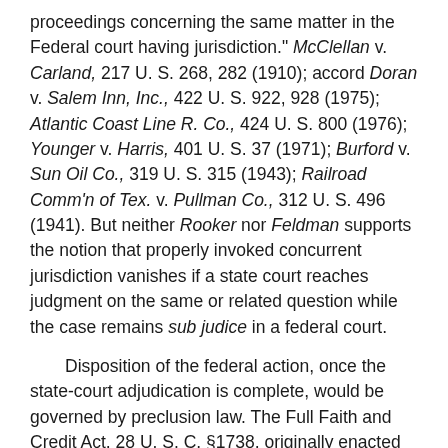proceedings concerning the same matter in the Federal court having jurisdiction." McClellan v. Carland, 217 U. S. 268, 282 (1910); accord Doran v. Salem Inn, Inc., 422 U. S. 922, 928 (1975); Atlantic Coast Line R. Co., 424 U. S. 800 (1976); Younger v. Harris, 401 U. S. 37 (1971); Burford v. Sun Oil Co., 319 U. S. 315 (1943); Railroad Comm'n of Tex. v. Pullman Co., 312 U. S. 496 (1941). But neither Rooker nor Feldman supports the notion that properly invoked concurrent jurisdiction vanishes if a state court reaches judgment on the same or related question while the case remains sub judice in a federal court.
Disposition of the federal action, once the state-court adjudication is complete, would be governed by preclusion law. The Full Faith and Credit Act, 28 U. S. C. §1738, originally enacted in 1790, ch. 11, 1 Stat. 122, requires the federal court to "give the same preclusive effect to a state-court judgment as another court of that State would give."